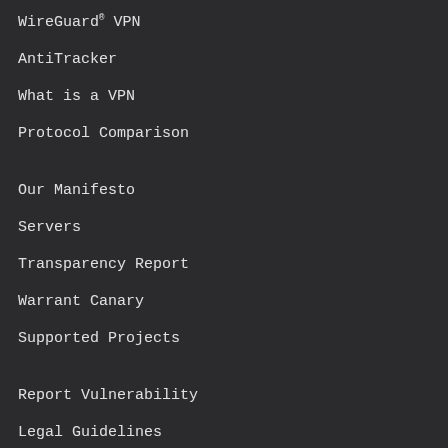WireGuard® VPN
AntiTracker
What is a VPN
Protocol Comparison
Our Manifesto
Servers
Transparency Report
Warrant Canary
Supported Projects
Report Vulnerability
Legal Guidelines